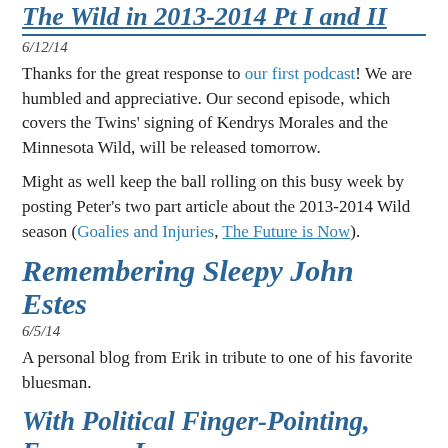The Wild in 2013-2014 Pt I and II
6/12/14
Thanks for the great response to our first podcast! We are humbled and appreciative. Our second episode, which covers the Twins' signing of Kendrys Morales and the Minnesota Wild, will be released tomorrow.
Might as well keep the ball rolling on this busy week by posting Peter's two part article about the 2013-2014 Wild season (Goalies and Injuries, The Future is Now).
Remembering Sleepy John Estes
6/5/14
A personal blog from Erik in tribute to one of his favorite bluesman.
With Political Finger-Pointing, Everyone Loses 6/12/14
Sewage issues in Minnetonka have been a big issue in Minnesota throughout the spring. Peter gives his